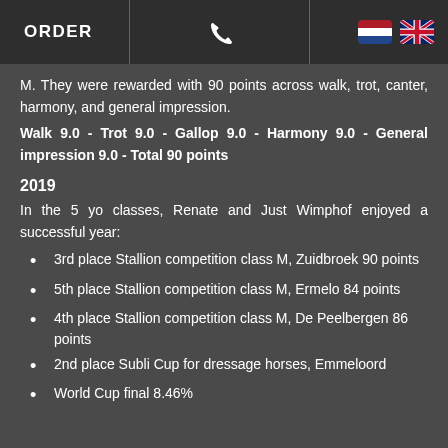ORDER | [phone icon] | [NL flag] [UK flag]
M. They were rewarded with 90 points across walk, trot, canter, harmony, and general impression.
Walk 9.0 - Trot 9.0 - Gallop 9.0 - Harmony 9.0 - General impression 9.0 - Total 90 points
2019
In the 5 yo classes, Renate and Just Wimphof enjoyed a successful year:
3rd place Stallion competition class M, Zuidbroek 90 points
5th place Stallion competition class M, Ermelo 84 points
4th place Stallion competition class M, De Peelbergen 86 points
2nd place Subli Cup for dressage horses, Emmeloord
World Cup final 8.46%